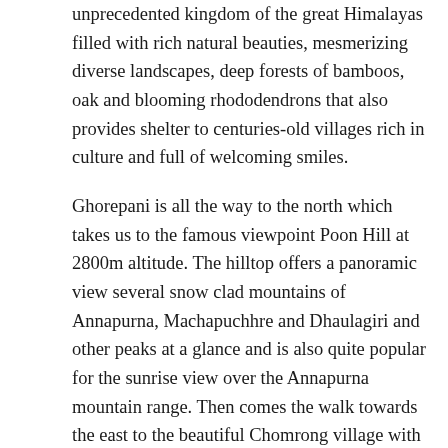unprecedented kingdom of the great Himalayas filled with rich natural beauties, mesmerizing diverse landscapes, deep forests of bamboos, oak and blooming rhododendrons that also provides shelter to centuries-old villages rich in culture and full of welcoming smiles.
Ghorepani is all the way to the north which takes us to the famous viewpoint Poon Hill at 2800m altitude. The hilltop offers a panoramic view several snow clad mountains of Annapurna, Machapuchhre and Dhaulagiri and other peaks at a glance and is also quite popular for the sunrise view over the Annapurna mountain range. Then comes the walk towards the east to the beautiful Chomrong village with thousands of stone staircases and finally the walk to the north again pass through a narrow gorge into the Modi Khola valley traveling between two peaks, Hiuchuli and Machhapuchhre which leads up to our destination Annapurna Base camp at 4200m.